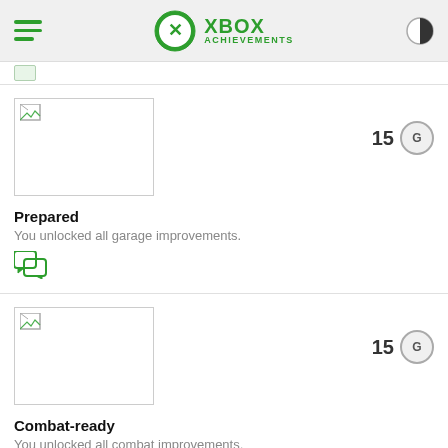XBOX ACHIEVEMENTS
[Figure (screenshot): Partially visible achievement card at top, cut off]
Prepared
You unlocked all garage improvements.
Combat-ready
You unlocked all combat improvements.